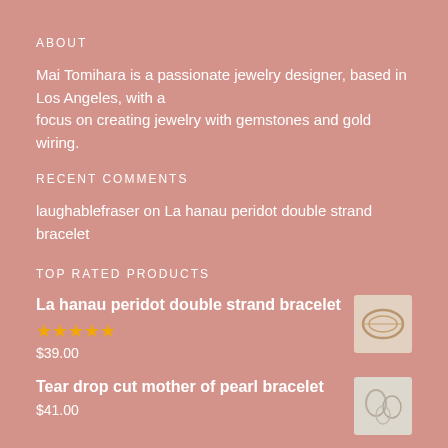ABOUT
Mai Tomihara is a passionate jewelry designer, based in Los Angeles, with a focus on creating jewelry with gemstones and gold wiring.
RECENT COMMENTS
laughablefraser on La hanau peridot double strand bracelet
TOP RATED PRODUCTS
La hanau peridot double strand bracelet
★★★★★
$39.00
[Figure (photo): Small thumbnail photo of a gold bracelet on a light background]
Tear drop cut mother of pearl bracelet
$41.00
[Figure (photo): Small thumbnail photo of a pearl bracelet on a light background]